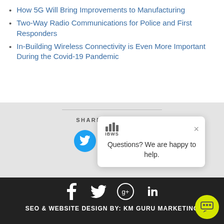How 5G Will Bring Improvements to Manufacturing
Two-Way Radio Communications for Police and First Responders
In-Building Wireless Connectivity is Even More Important During the Covid-19 Pandemic
SHARE THIS PAGE:
[Figure (screenshot): Share buttons: Twitter, Facebook, LinkedIn circles in blue]
[Figure (screenshot): IBWS chat popup: Questions? We are happy to help.]
SEO & WEBSITE DESIGN BY: KM GURU MARKETING